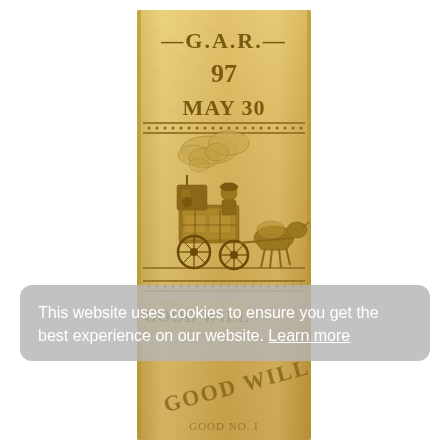[Figure (photo): A woven or embossed gold ribbon/badge from 1897. The top section reads 'G.A.R.' with decorative arrows, below that '97' and 'MAY 30'. The middle section depicts a horse-drawn carriage or fire engine scene with figures, horses, wheels, and clouds embossed in gold. Below a star-dotted border is a gold rectangular label reading 'GOOD WILL'. At the very bottom partial text 'GOOD WILL' appears diagonally. The entire ribbon is golden/tan colored with textured fabric appearance.]
This website uses cookies to ensure you get the best experience on our website. Learn more